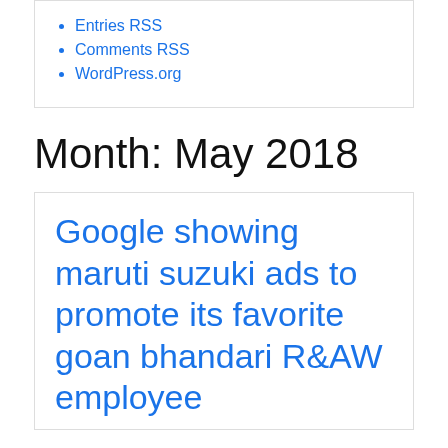Entries RSS
Comments RSS
WordPress.org
Month: May 2018
Google showing maruti suzuki ads to promote its favorite goan bhandari R&AW employee